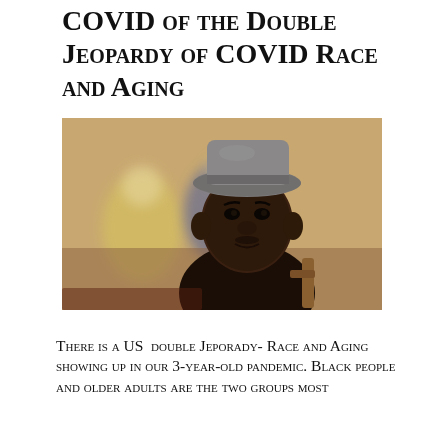COVID of the Double Jeopardy of COVID Race and Aging
[Figure (photo): An elderly Black man wearing a gray fedora hat sits in the foreground, looking to the side with a serious expression. In the blurred background are other people in a casual indoor setting.]
There is a US double Jeporady- Race and Aging showing up in our 3-year-old pandemic. Black people and older adults are the two groups most